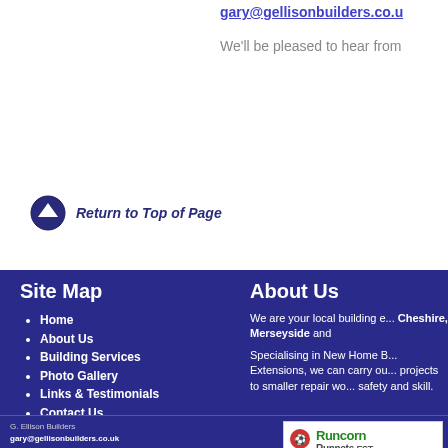gary@gellisonbuilders.co.uk
We'll be pleased to hear from
Return to Top of Page
Site Map
Home
About Us
Building Services
Photo Gallery
Links & Testimonials
Contact Us
About Us
We are your local building e... Cheshire, Merseyside and...
Specialising in New Home B... Extensions, we can carry ou... projects to smaller repair wo... safety and skill.
G. Ellison Builders
gary@gellisonbuilders.co.uk
24 Glastonbury Close
Sandymoor, Runcorn, Cheshire WA7 1QW UK
07710 254636